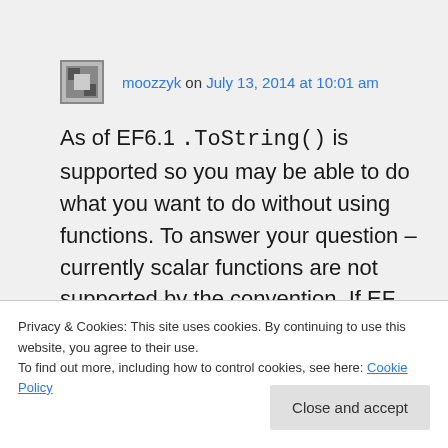moozzyk on July 13, 2014 at 10:01 am
As of EF6.1 .ToString() is supported so you may be able to do what you want to do without using functions. To answer your question – currently scalar functions are not supported by the convention. If EF supports scalar functions I will add the support for them to the convention. (Created a work item for this.
Privacy & Cookies: This site uses cookies. By continuing to use this website, you agree to their use.
To find out more, including how to control cookies, see here: Cookie Policy
Close and accept